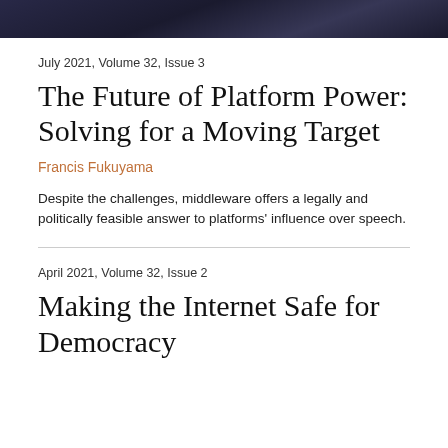[Figure (photo): Dark header image, appears to be a low-light photograph of a crowd or event]
July 2021, Volume 32, Issue 3
The Future of Platform Power: Solving for a Moving Target
Francis Fukuyama
Despite the challenges, middleware offers a legally and politically feasible answer to platforms' influence over speech.
April 2021, Volume 32, Issue 2
Making the Internet Safe for Democracy